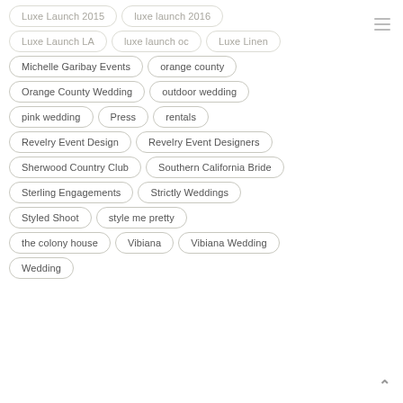Luxe Launch 2015
luxe launch 2016
Luxe Launch LA
luxe launch oc
Luxe Linen
Michelle Garibay Events
orange county
Orange County Wedding
outdoor wedding
pink wedding
Press
rentals
Revelry Event Design
Revelry Event Designers
Sherwood Country Club
Southern California Bride
Sterling Engagements
Strictly Weddings
Styled Shoot
style me pretty
the colony house
Vibiana
Vibiana Wedding
Wedding